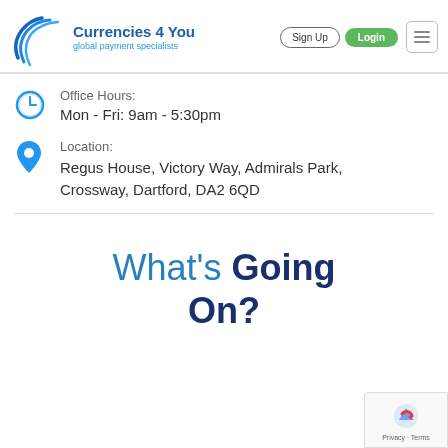[Figure (logo): Currencies 4 You logo with blue spiral wave graphic, company name and tagline 'global payment specialists']
Office Hours:
Mon - Fri: 9am - 5:30pm
Location:
Regus House, Victory Way, Admirals Park, Crossway, Dartford, DA2 6QD
What's Going On?